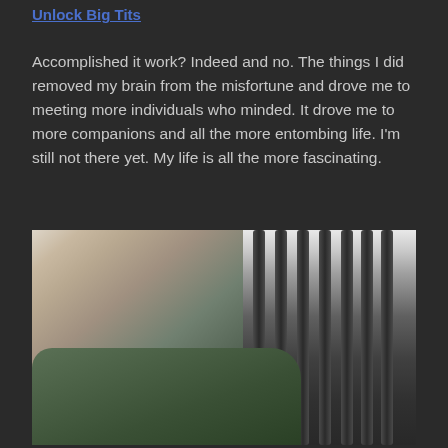Unlock Big Tits
Accomplished it work? Indeed and no. The things I did removed my brain from the misfortune and drove me to meeting more individuals who minded. It drove me to more companions and all the more entombing life. I'm still not there yet. My life is all the more fascinating.
[Figure (photo): A young woman with blonde/reddish hair taking a selfie in what appears to be a gym, lifting her green shirt. Gym equipment (bars/racks) visible in the background on the right side.]